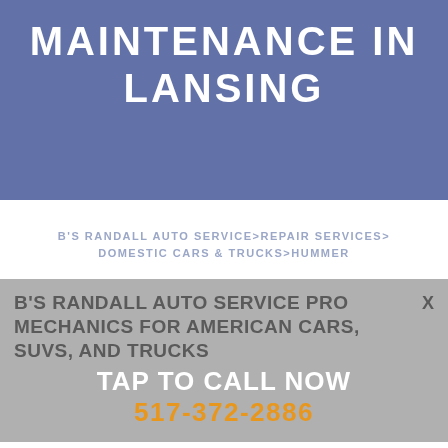MAINTENANCE IN LANSING
B'S RANDALL AUTO SERVICE>REPAIR SERVICES>DOMESTIC CARS & TRUCKS>HUMMER
B'S RANDALL AUTO SERVICE PRO MECHANICS FOR AMERICAN CARS, SUVS, AND TRUCKS
TAP TO CALL NOW
517-372-2886
Bring your Hummer to B's Randall Auto Service, located in Lansing... 48912 and our team of expert